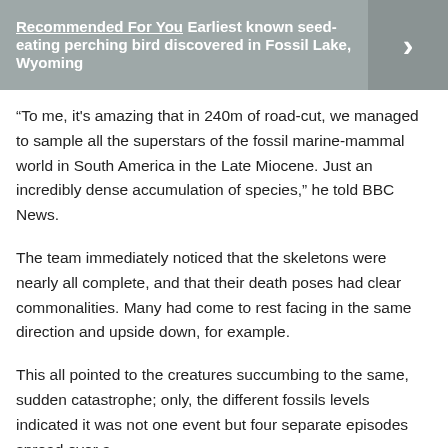[Figure (other): Recommended For You banner with bold white text reading 'Recommended For You Earliest known seed-eating perching bird discovered in Fossil Lake, Wyoming' on a grey background with a right-arrow chevron on the right side]
“To me, it's amazing that in 240m of road-cut, we managed to sample all the superstars of the fossil marine-mammal world in South America in the Late Miocene. Just an incredibly dense accumulation of species,” he told BBC News.
The team immediately noticed that the skeletons were nearly all complete, and that their death poses had clear commonalities. Many had come to rest facing in the same direction and upside down, for example.
This all pointed to the creatures succumbing to the same, sudden catastrophe; only, the different fossils levels indicated it was not one event but four separate episodes spread over a